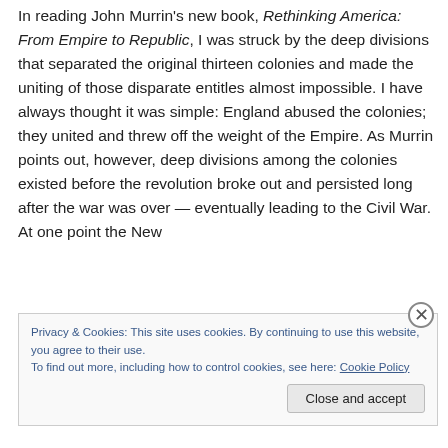In reading John Murrin's new book, Rethinking America: From Empire to Republic, I was struck by the deep divisions that separated the original thirteen colonies and made the uniting of those disparate entitles almost impossible. I have always thought it was simple: England abused the colonies; they united and threw off the weight of the Empire. As Murrin points out, however, deep divisions among the colonies existed before the revolution broke out and persisted long after the war was over — eventually leading to the Civil War.  At one point the New
Privacy & Cookies: This site uses cookies. By continuing to use this website, you agree to their use. To find out more, including how to control cookies, see here: Cookie Policy